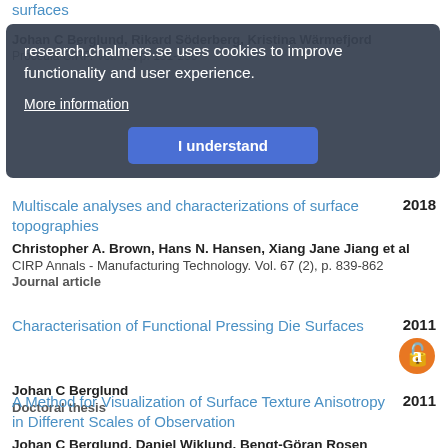surfaces
Johan C Berglund, Rikard Söderberg, Kristina Wärmefjord
Procedia CIRP. Vol. 75, p. 131-136
research.chalmers.se uses cookies to improve functionality and user experience.
More information
I understand
Multiscale analyses and characterizations of surface topographies
2018
Christopher A. Brown, Hans N. Hansen, Xiang Jane Jiang et al
CIRP Annals - Manufacturing Technology. Vol. 67 (2), p. 839-862
Journal article
Characterisation of Functional Pressing Die Surfaces
2011
Johan C Berglund
Doctoral thesis
A Method for Visualization of Surface Texture Anisotropy in Different Scales of Observation
2011
Johan C Berglund, Daniel Wiklund, Bengt-Göran Rosen